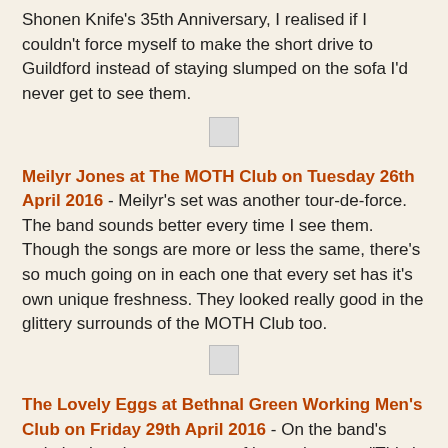Shonen Knife's 35th Anniversary, I realised if I couldn't force myself to make the short drive to Guildford instead of staying slumped on the sofa I'd never get to see them.
[Figure (photo): Small image placeholder]
Meilyr Jones at The MOTH Club on Tuesday 26th April 2016 - Meilyr's set was another tour-de-force. The band sounds better every time I see them. Though the songs are more or less the same, there's so much going on in each one that every set has it's own unique freshness. They looked really good in the glittery surrounds of the MOTH Club too.
[Figure (photo): Small image placeholder]
The Lovely Eggs at Bethnal Green Working Men's Club on Friday 29th April 2016 - On the band's website there's a statement of intent that runs "This is our band. We do exactly what we like. Some of our songs are ten seconds long. Some are four minutes long. We don't care. Because it